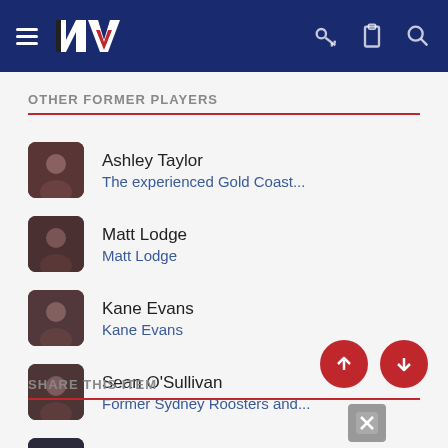[Figure (screenshot): Navigation header bar with dark navy blue background. Contains hamburger menu icon on left, NZ Warriors logo (letter V with black and red design), and key, clipboard, and search icons on right.]
OTHER FORMER PLAYERS
Ashley Taylor
The experienced Gold Coast...
Matt Lodge
Matt Lodge
Kane Evans
Kane Evans
Sean O'Sullivan
Former Sydney Roosters and...
Daniel Alvarro
Daniel Alvarro
SHARE THIS ITEM